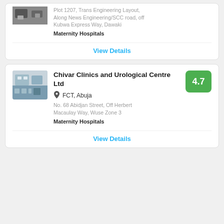Plot 1207, Trans Engineering Layout, Along News Engineering/SCC road, off Kubwa Express Way, Dawaki
Maternity Hospitals
View Details
Chivar Clinics and Urological Centre Ltd
FCT, Abuja
No. 68 Abidjan Street, Off Herbert Macaulay Way, Wuse Zone 3
Maternity Hospitals
View Details